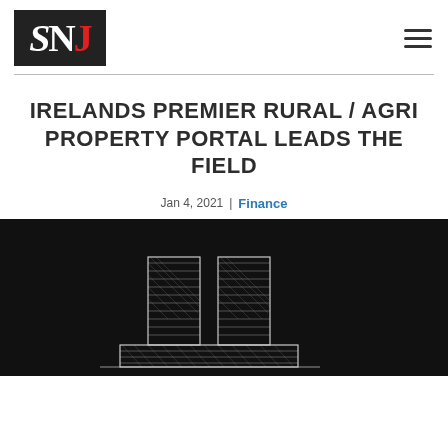[Figure (logo): SNJ logo — black box with white serif S, white serif N, and red serif J letters]
IRELANDS PREMIER RURAL / AGRI PROPERTY PORTAL LEADS THE FIELD
Jan 4, 2021 | Finance
[Figure (illustration): Dark background illustration showing a sketch/drawing of buildings or farm structures in white hatching lines on a black background]